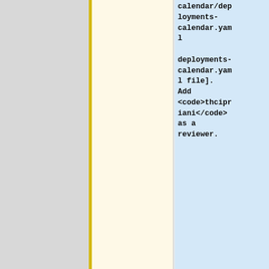calendar/deployments-calendar.yaml deployments-calendar.yaml file]. Add <code>thcipriani</code> as a reviewer.
:To schedule a deploy window, or if you see a potential conflict with your upcoming
* If you need help, contact [[mw:Wikimedia Release Engineering Team|Release Engineering]